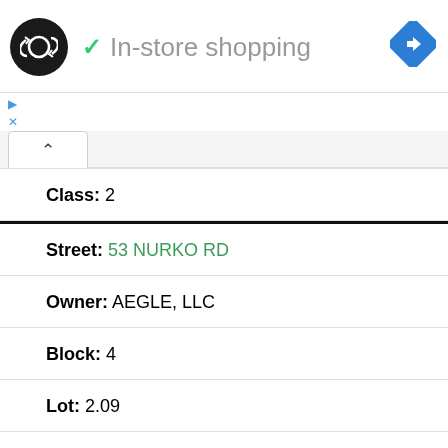[Figure (logo): Black circle logo with double arrow/infinity symbol in white]
✓ In-store shopping
[Figure (other): Blue diamond navigation icon with right-turn arrow]
▷
×
Class: 2
Street: 53 NURKO RD
Owner: AEGLE, LLC
Block: 4
Lot: 2.09
Qual: